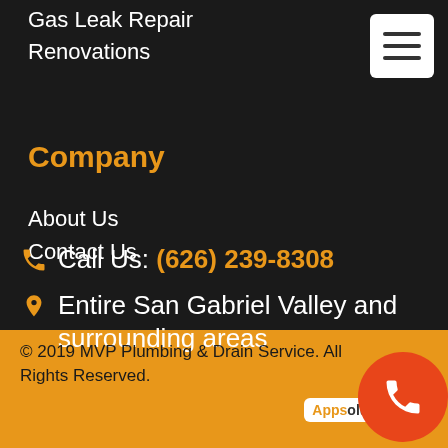Gas Leak Repair
Renovations
Company
About Us
Contact Us
Call Us: (626) 239-8308
Entire San Gabriel Valley and surrounding areas
© 2019 MVP Plumbing & Drain Service. All Rights Reserved.